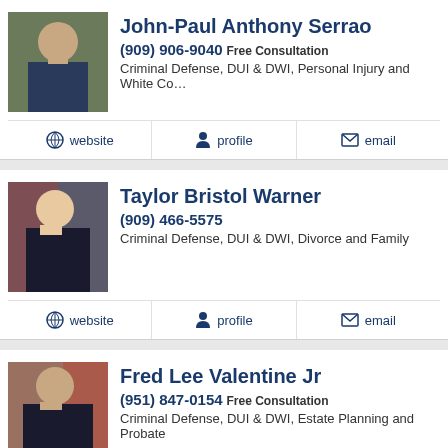[Figure (photo): Headshot of John-Paul Anthony Serrao, a man in a suit]
John-Paul Anthony Serrao
(909) 906-9040 Free Consultation
Criminal Defense, DUI & DWI, Personal Injury and White Co…
website | profile | email
[Figure (photo): Photo of Taylor Bristol Warner, a woman in professional attire]
Taylor Bristol Warner
(909) 466-5575
Criminal Defense, DUI & DWI, Divorce and Family
website | profile | email
[Figure (photo): Photo of Fred Lee Valentine Jr, a man in professional attire]
Fred Lee Valentine Jr
(951) 847-0154 Free Consultation
Criminal Defense, DUI & DWI, Estate Planning and Probate